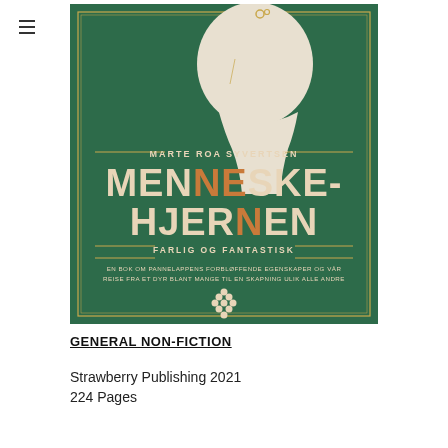[Figure (illustration): Book cover of 'Menneskehjernen – Farlig og Fantastisk' by Marte Roa Syvertsen. Dark green background with a cream-colored silhouette of a person's head/bust. Text in cream and orange: author name 'MARTE ROA SYVERTSEN', large title 'MENNESKE-HJERNEN', subtitle 'FARLIG OG FANTASTISK', and descriptive text 'EN BOK OM PANNELAPPENS FORBLØFFENDE EGENSKAPER OG VÅR REISE FRA ET DYR BLANT MANGE TIL EN SKAPNING ULIK ALLE ANDRE'. Publisher logo (Strawberry/grapes icon) at bottom. Gold rectangular border frame.]
GENERAL NON-FICTION
Strawberry Publishing 2021
224 Pages